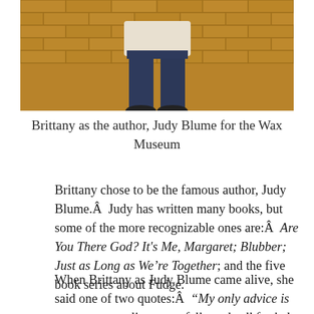[Figure (photo): Photo of a person (Brittany) standing against a brick wall background, dressed as Judy Blume for a Wax Museum project. Only the lower body is visible — jeans and shoes.]
Brittany as the author, Judy Blume for the Wax Museum
Brittany chose to be the famous author, Judy Blume.Â  Judy has written many books, but some of the more recognizable ones are:Â  Are You There God? It's Me, Margaret; Blubber; Just as Long as We’re Together; and the five book series about Fudge.
When Brittany as Judy Blume came alive, she said one of two quotes:Â  “My only advice is to stay aware, listen carefully and yell for help if you need